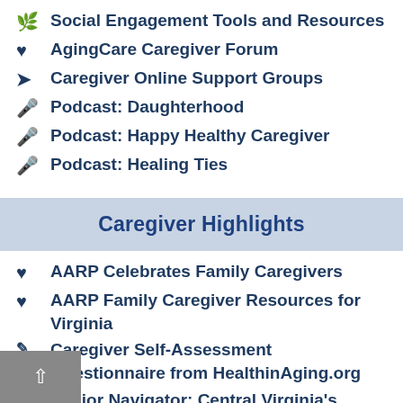Social Engagement Tools and Resources
AgingCare Caregiver Forum
Caregiver Online Support Groups
Podcast: Daughterhood
Podcast: Happy Healthy Caregiver
Podcast: Healing Ties
Caregiver Highlights
AARP Celebrates Family Caregivers
AARP Family Caregiver Resources for Virginia
Caregiver Self-Assessment Questionnaire from HealthinAging.org
Senior Navigator: Central Virginia's Guide for Aging Well and